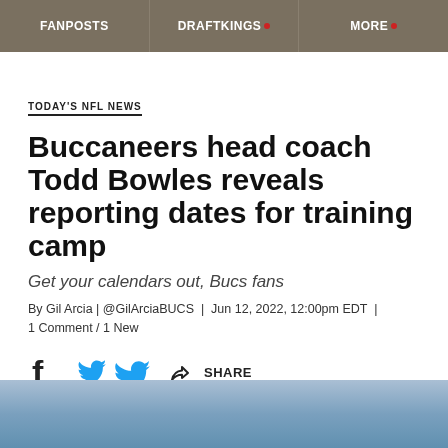FANPOSTS | DRAFTKINGS | MORE
TODAY'S NFL NEWS
Buccaneers head coach Todd Bowles reveals reporting dates for training camp
Get your calendars out, Bucs fans
By Gil Arcia | @GilArciaBUCS | Jun 12, 2022, 12:00pm EDT | 1 Comment / 1 New
[Figure (infographic): Social share buttons: Facebook, Twitter, and Share icons with SHARE label]
[Figure (photo): Blue sky gradient background image at bottom of page]